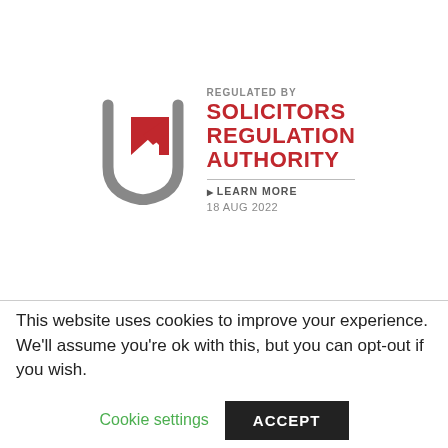[Figure (logo): Solicitors Regulation Authority logo: grey shield/checkmark icon with red arrow, text 'REGULATED BY SOLICITORS REGULATION AUTHORITY', 'LEARN MORE', '18 AUG 2022']
This website uses cookies to improve your experience. We'll assume you're ok with this, but you can opt-out if you wish.
Cookie settings
ACCEPT